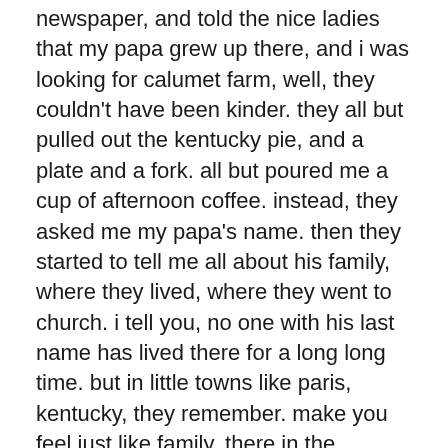newspaper, and told the nice ladies that my papa grew up there, and i was looking for calumet farm, well, they couldn't have been kinder. they all but pulled out the kentucky pie, and a plate and a fork. all but poured me a cup of afternoon coffee. instead, they asked me my papa's name. then they started to tell me all about his family, where they lived, where they went to church. i tell you, no one with his last name has lived there for a long long time. but in little towns like paris, kentucky, they remember. make you feel just like family, there in the newspaper office on main.
but not at the gates of the farm now owned by someone altogether new. someone from far, far away, i've been told.
for four days and four nights, i slept in beds that don't know my particular lumps, drank coffee that wasn't brewed